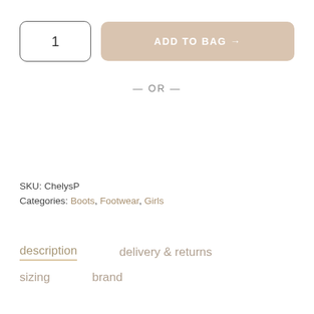1
ADD TO BAG →
— OR —
SKU: ChelysP
Categories: Boots, Footwear, Girls
description
delivery & returns
sizing
brand